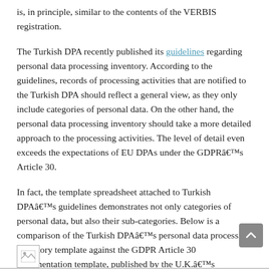is, in principle, similar to the contents of the VERBIS registration.
The Turkish DPA recently published its guidelines regarding personal data processing inventory. According to the guidelines, records of processing activities that are notified to the Turkish DPA should reflect a general view, as they only include categories of personal data. On the other hand, the personal data processing inventory should take a more detailed approach to the processing activities. The level of detail even exceeds the expectations of EU DPAs under the GDPRâ€™s Article 30.
In fact, the template spreadsheet attached to Turkish DPAâ€™s guidelines demonstrates not only categories of personal data, but also their sub-categories. Below is a comparison of the Turkish DPAâ€™s personal data processing inventory template against the GDPR Article 30 documentation template, published by the U.K.â€™s Information Commissionerâ€™s Office:
[Figure (other): Image placeholder at bottom of page]